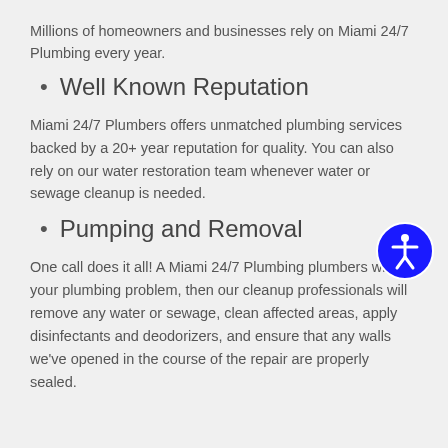Millions of homeowners and businesses rely on Miami 24/7 Plumbing every year.
Well Known Reputation
Miami 24/7 Plumbers offers unmatched plumbing services backed by a 20+ year reputation for quality. You can also rely on our water restoration team whenever water or sewage cleanup is needed.
Pumping and Removal
One call does it all! A Miami 24/7 Plumbing plumbers will fix your plumbing problem, then our cleanup professionals will remove any water or sewage, clean affected areas, apply disinfectants and deodorizers, and ensure that any walls we've opened in the course of the repair are properly sealed.